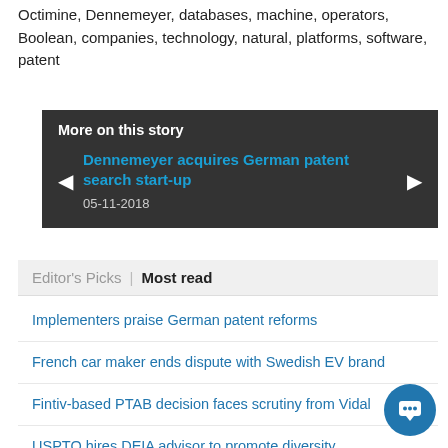Octimine, Dennemeyer, databases, machine, operators, Boolean, companies, technology, natural, platforms, software, patent
[Figure (other): Dark grey box titled 'More on this story' with navigation arrows and a link to 'Dennemeyer acquires German patent search start-up' dated 05-11-2018]
Editor's Picks | Most read
Implementers praise German patent reforms
French car maker ends dispute with Swedish EV brand
Fintiv-based PTAB decision faces scrutiny from Vidal
USPTO hires DEIA advisor to promote diversity